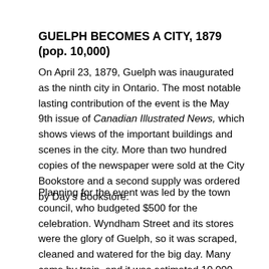GUELPH BECOMES A CITY, 1879 (pop. 10,000)
On April 23, 1879, Guelph was inaugurated as the ninth city in Ontario. The most notable lasting contribution of the event is the May 9th issue of Canadian Illustrated News, which shows views of the important buildings and scenes in the city. More than two hundred copies of the newspaper were sold at the City Bookstore and a second supply was ordered by Day's Bookstore.
Planning for the event was led by the town council, who budgeted $500 for the celebration. Wyndham Street and its stores were the glory of Guelph, so it was scraped, cleaned and watered for the big day. Many came by train, and it was estimated 10,000 took